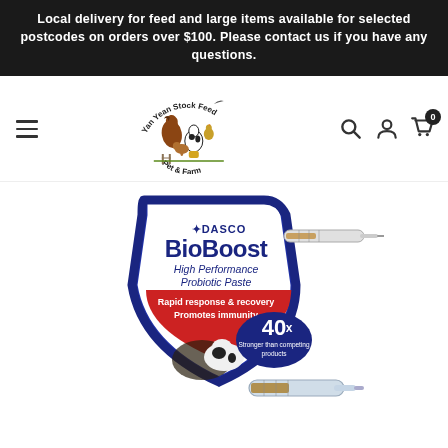Local delivery for feed and large items available for selected postcodes on orders over $100. Please contact us if you have any questions.
[Figure (logo): Yan Yean Stock Feed Pet & Farm logo with farm animals]
[Figure (photo): DASCO BioBoost High Performance Probiotic Paste product image showing syringes and shield logo. 40x Stronger than competing products. Rapid response & recovery. Promotes immunity.]